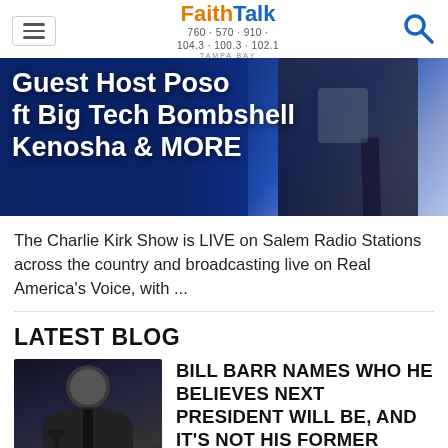FaithTalk 760 570 910 104.3 100.3 102.1 TAMPA BAY
[Figure (photo): FaithTalk radio station banner image: Guest Host Poso ft Big Tech Bombshell Kenosha & MORE, with a man in dark suit in background]
The Charlie Kirk Show is LIVE on Salem Radio Stations across the country and broadcasting live on Real America's Voice, with ...
LATEST BLOG
[Figure (photo): Black and white photo of a man in a dark suit at a microphone podium]
BILL BARR NAMES WHO HE BELIEVES NEXT PRESIDENT WILL BE, AND IT'S NOT HIS FORMER BOSS